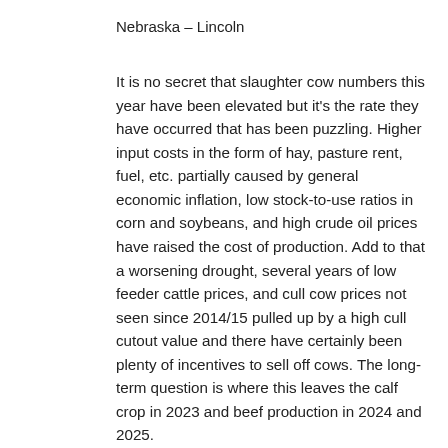Nebraska – Lincoln
It is no secret that slaughter cow numbers this year have been elevated but it's the rate they have occurred that has been puzzling. Higher input costs in the form of hay, pasture rent, fuel, etc. partially caused by general economic inflation, low stock-to-use ratios in corn and soybeans, and high crude oil prices have raised the cost of production. Add to that a worsening drought, several years of low feeder cattle prices, and cull cow prices not seen since 2014/15 pulled up by a high cull cutout value and there have certainly been plenty of incentives to sell off cows. The long-term question is where this leaves the calf crop in 2023 and beef production in 2024 and 2025.